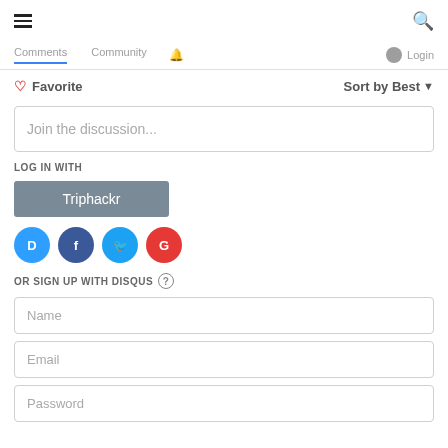[Figure (screenshot): Top navigation bar with hamburger menu icon on left and search icon on right]
[Figure (screenshot): Navigation tabs: Comments, Community, notification bell, avatar, Login - with Comments tab underlined in blue]
♡ Favorite      Sort by Best ▼
Join the discussion...
LOG IN WITH
Triphackr
[Figure (screenshot): Social login icons: Disqus (blue D), Facebook (dark blue f), Twitter (light blue bird), Google (red G)]
OR SIGN UP WITH DISQUS ?
Name
Email
Password